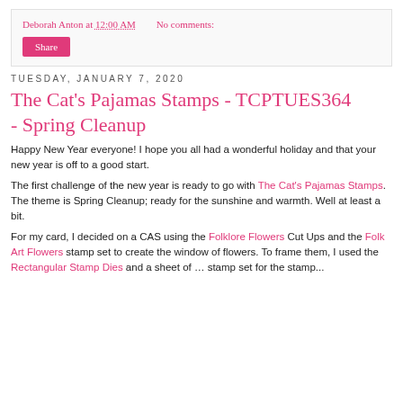Deborah Anton at 12:00 AM   No comments:
Share
TUESDAY, JANUARY 7, 2020
The Cat's Pajamas Stamps - TCPTUES364 - Spring Cleanup
Happy New Year everyone!  I hope you all had a wonderful holiday and that your new year is off to a good start.
The first challenge of the new year is ready to go with The Cat's Pajamas Stamps.  The theme is Spring Cleanup; ready for the sunshine and warmth. Well at least a bit.
For my card, I decided on a CAS using the Folklore Flowers Cut Ups and the Folk Art Flowers stamp set to create the window of flowers.  To frame them, I used the Rectangular Stamp Dies...